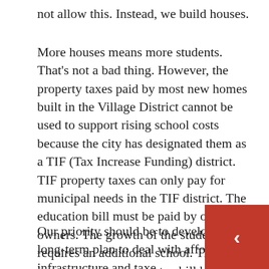not allow this. Instead, we build houses.
More houses means more students. That's not a bad thing. However, the property taxes paid by most new homes built in the Village District cannot be used to support rising school costs because the city has designated them as a TIF (Tax Increase Funding) district. TIF property taxes can only pay for municipal needs in the TIF district. The education bill must be paid by other owners. The growth of the students requires an additional school. This can increase your property tax bill by over 15%.
Our priority should be to develop a long-term plan to deal with affordable infrastructure and taxes. We need to be proactive, not reactive, as is the case when it comes to 131 new homes. The slowdown in